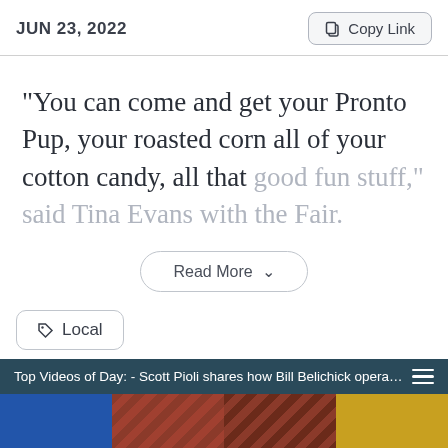JUN 23, 2022
"You can come and get your Pronto Pup, your roasted corn all of your cotton candy, all that good fun stuff," said Tina Evans with the Fair.
Read More
Local
Top Videos of Day: - Scott Pioli shares how Bill Belichick operates ...